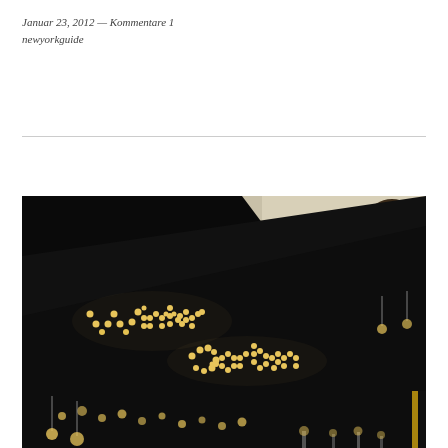Januar 23, 2012 — Kommentare 1
newyorkguide
[Figure (photo): Nighttime photo of the Winter Garden theatre marquee sign, with bulb lights spelling 'Winter Garden' in cursive script against a dark background. A billboard with 'MIA!' and a woman's face is visible in the upper right.]